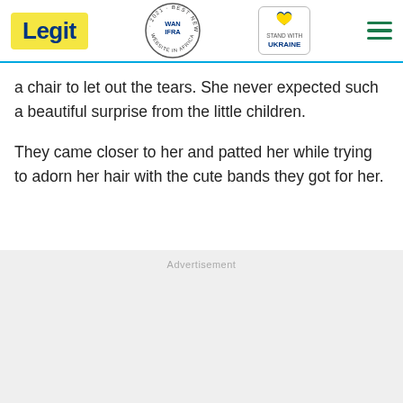Legit | WAN-IFRA 2021 Best News Website in Africa | Stand With Ukraine
a chair to let out the tears. She never expected such a beautiful surprise from the little children.
They came closer to her and patted her while trying to adorn her hair with the cute bands they got for her.
Advertisement